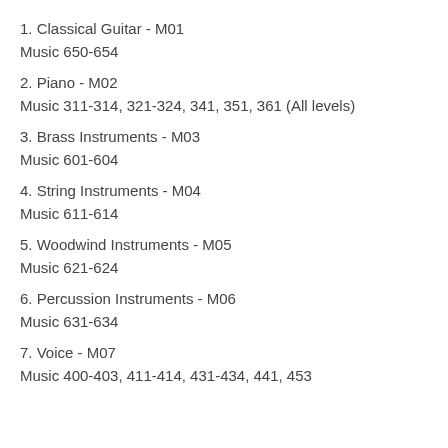1. Classical Guitar - M01
Music 650-654
2. Piano - M02
Music 311-314, 321-324, 341, 351, 361 (All levels)
3. Brass Instruments - M03
Music 601-604
4. String Instruments - M04
Music 611-614
5. Woodwind Instruments - M05
Music 621-624
6. Percussion Instruments - M06
Music 631-634
7. Voice - M07
Music 400-403, 411-414, 431-434, 441, 453